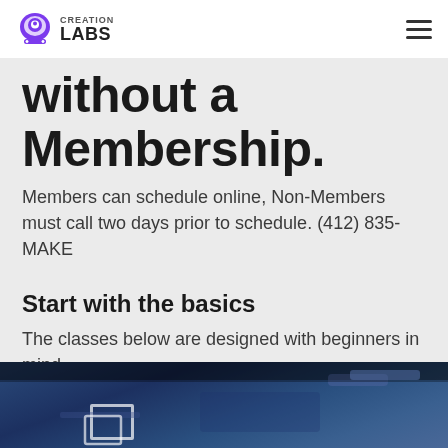Creation Labs
without a Membership.
Members can schedule online, Non-Members must call two days prior to schedule. (412) 835-MAKE
Start with the basics
The classes below are designed with beginners in mind.
[Figure (photo): Photo of makerspace equipment, dark blue toned image showing machinery or 3D printer, partially cropped at bottom of page]